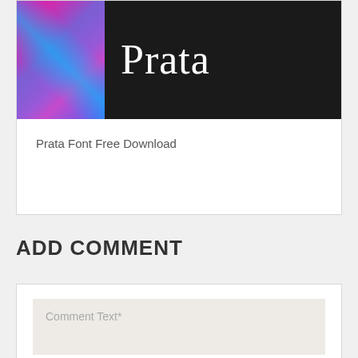[Figure (screenshot): Card showing 'Prata' text in large serif font on dark background with colorful abstract image on the left side]
Prata Font Free Download
ADD COMMENT
Comment Text*